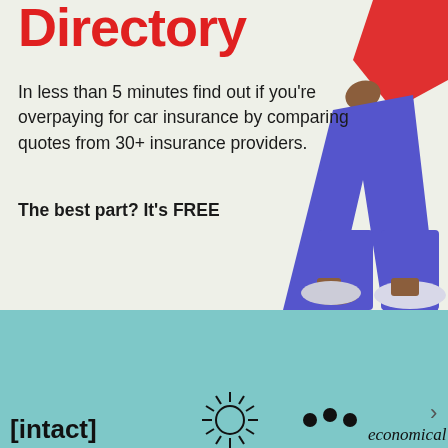Directory
In less than 5 minutes find out if you’re overpaying for car insurance by comparing quotes from 30+ insurance providers.
The best part? It’s FREE
[Figure (illustration): Illustration of a person walking, wearing a red top and blue pants, with brown skin, on a light beige-green background. Only the lower torso and legs are visible, cropped at the top right of the section.]
[Figure (logo): Logo bar on teal/cyan background showing insurance provider logos: Intact (with square brackets), a sunburst/radial logo, dots logo, and Economical (partially visible)]